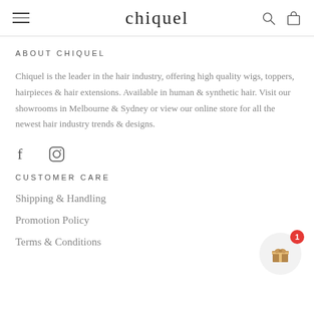chiquel
ABOUT CHIQUEL
Chiquel is the leader in the hair industry, offering high quality wigs, toppers, hairpieces & hair extensions. Available in human & synthetic hair. Visit our showrooms in Melbourne & Sydney or view our online store for all the newest hair industry trends & designs.
[Figure (logo): Social media icons: Facebook (f) and Instagram (circle with inner circle)]
CUSTOMER CARE
Shipping & Handling
Promotion Policy
Terms & Conditions
[Figure (infographic): Gift icon button with red badge showing number 1, circular background]